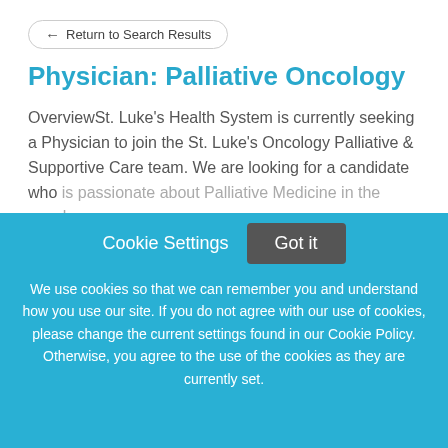← Return to Search Results
Physician: Palliative Oncology
OverviewSt. Luke's Health System is currently seeking a Physician to join the St. Luke's Oncology Palliative & Supportive Care team. We are looking for a candidate who is passionate about Palliative Medicine in the oncology
This job listing is no longer active.
Cookie Settings
Got it
We use cookies so that we can remember you and understand how you use our site. If you do not agree with our use of cookies, please change the current settings found in our Cookie Policy. Otherwise, you agree to the use of the cookies as they are currently set.